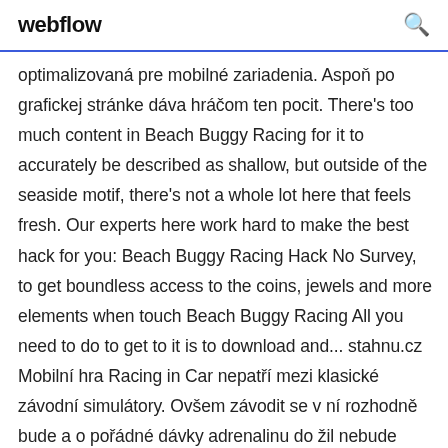webflow
optimalizovaná pre mobilné zariadenia. Aspoň po grafickej stránke dáva hráčom ten pocit. There's too much content in Beach Buggy Racing for it to accurately be described as shallow, but outside of the seaside motif, there's not a whole lot here that feels fresh. Our experts here work hard to make the best hack for you: Beach Buggy Racing Hack No Survey, to get boundless access to the coins, jewels and more elements when touch Beach Buggy Racing All you need to do to get to it is to download and... stahnu.cz Mobilní hra Racing in Car nepatří mezi klasické závodní simulátory. Ovšem závodit se v ní rozhodně bude a o pořádné dávky adrenalinu do žil nebude pouze